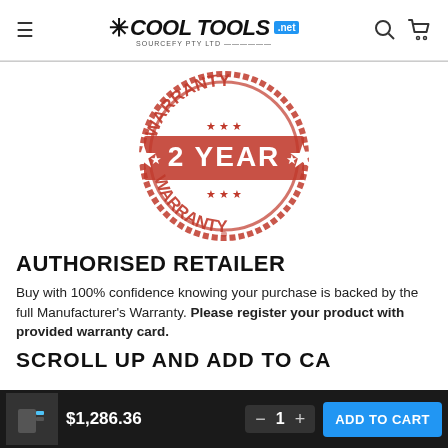COOL TOOLS .net — Sourcefy PTY LTD
[Figure (illustration): Red circular warranty stamp with '2 YEAR WARRANTY' text and stars]
AUTHORISED RETAILER
Buy with 100% confidence knowing your purchase is backed by the full Manufacturer's Warranty. Please register your product with provided warranty card.
SCROLL UP AND ADD TO CART TODAY
$1,286.36  −  1  +  ADD TO CART